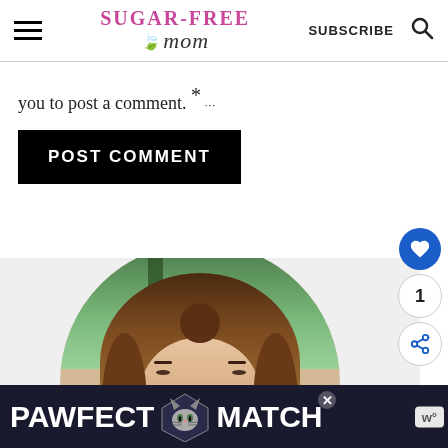Sugar-Free Mom | SUBSCRIBE
you to post a comment. *
POST COMMENT
[Figure (photo): Circular profile photo of a woman with long brown hair against a blurred green outdoor background]
[Figure (advertisement): PAWFECT MATCH advertisement banner with cat image on dark blue background]